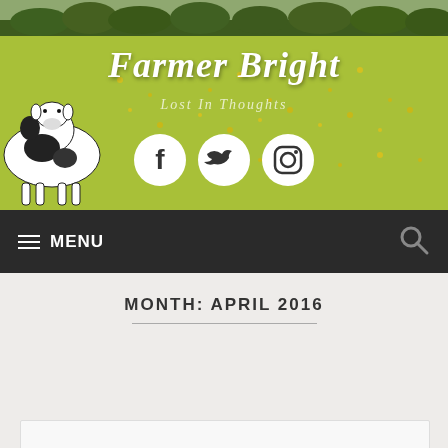[Figure (photo): Aerial view of a green farm field with yellow wildflowers. A black and white dairy cow is visible in the lower left. Trees line the background.]
Farmer Bright
Lost In Thoughts
[Figure (infographic): Three social media icons: Facebook, Twitter, Instagram — white circles on transparent background]
≡ MENU
MONTH: APRIL 2016